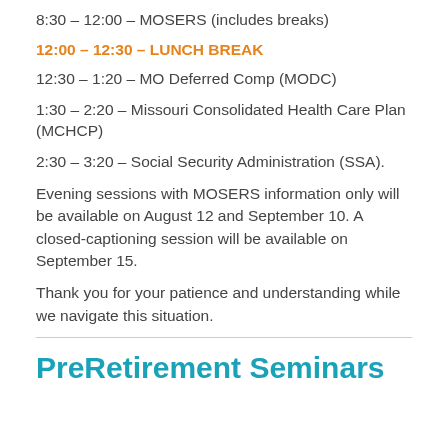8:30 – 12:00 – MOSERS (includes breaks)
12:00 – 12:30 – LUNCH BREAK
12:30 – 1:20 – MO Deferred Comp (MODC)
1:30 – 2:20 – Missouri Consolidated Health Care Plan (MCHCP)
2:30 – 3:20 – Social Security Administration (SSA).
Evening sessions with MOSERS information only will be available on August 12 and September 10. A closed-captioning session will be available on September 15.
Thank you for your patience and understanding while we navigate this situation.
PreRetirement Seminars